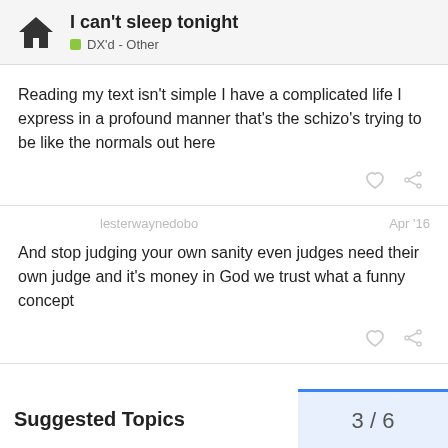I can't sleep tonight — DX'd - Other
Reading my text isn't simple I have a complicated life I express in a profound manner that's the schizo's trying to be like the normals out here
lesterwaynedobo — Apr '16
And stop judging your own sanity even judges need their own judge and it's money in God we trust what a funny concept
Suggested Topics
3 / 6